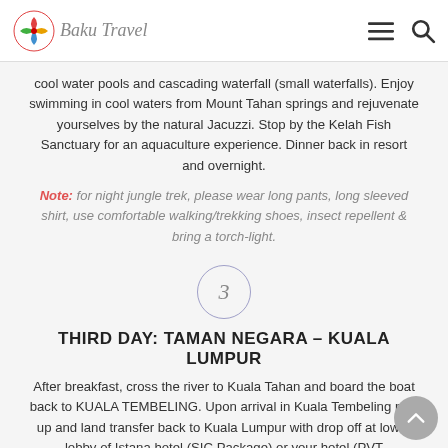Baku Travel
cool water pools and cascading waterfall (small waterfalls). Enjoy swimming in cool waters from Mount Tahan springs and rejuvenate yourselves by the natural Jacuzzi. Stop by the Kelah Fish Sanctuary for an aquaculture experience. Dinner back in resort and overnight.
Note: for night jungle trek, please wear long pants, long sleeved shirt, use comfortable walking/trekking shoes, insect repellent & bring a torch-light.
[Figure (other): Circled number 3 indicating day 3]
THIRD DAY: TAMAN NEGARA – KUALA LUMPUR
After breakfast, cross the river to Kuala Tahan and board the boat back to KUALA TEMBELING. Upon arrival in Kuala Tembeling pick up and land transfer back to Kuala Lumpur with drop off at lower lobby of Istana hotel (SIC Package) or your hotel (PVT